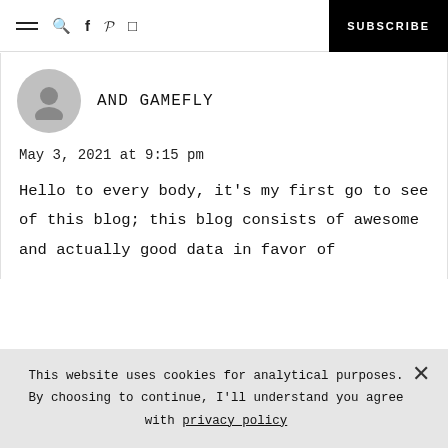≡  🔍  f  p  ◻  SUBSCRIBE
AND GAMEFLY
May 3, 2021 at 9:15 pm
Hello to every body, it's my first go to see of this blog; this blog consists of awesome and actually good data in favor of
This website uses cookies for analytical purposes. By choosing to continue, I'll understand you agree with privacy policy